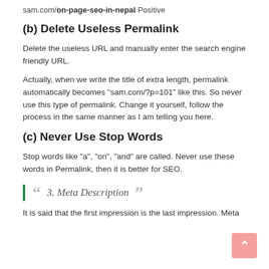sam.com/on-page-seo-in-nepal  Positive
(b) Delete Useless Permalink
Delete the useless URL and manually enter the search engine friendly URL.
Actually, when we write the title of extra length, permalink automatically becomes "sam.com/?p=101" like this. So never use this type of permalink. Change it yourself, follow the process in the same manner as I am telling you here.
(c) Never Use Stop Words
Stop words like “a”, “on”, “and” are called. Never use these words in Permalink, then it is better for SEO.
““ 3. Meta Description ””
It is said that the first impression is the last impression. Meta